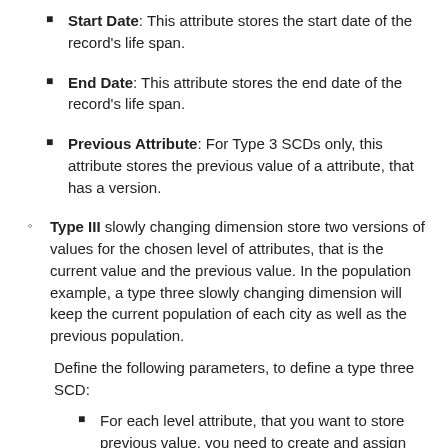Start Date: This attribute stores the start date of the record's life span.
End Date: This attribute stores the end date of the record's life span.
Previous Attribute: For Type 3 SCDs only, this attribute stores the previous value of a attribute, that has a version.
Type III slowly changing dimension store two versions of values for the chosen level of attributes, that is the current value and the previous value. In the population example, a type three slowly changing dimension will keep the current population of each city as well as the previous population.
Define the following parameters, to define a type three SCD:
For each level attribute, that you want to store previous value, you need to create and assign